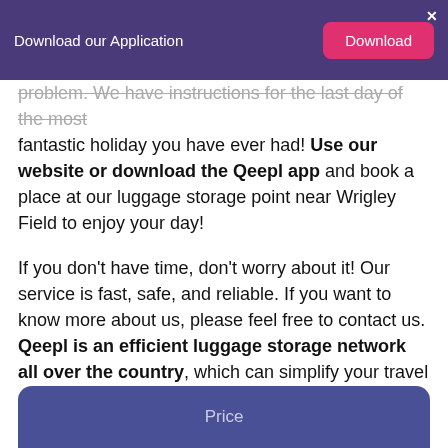Download our Application  [Download] [×]
problem. We have instructions for the last day of the most fantastic holiday you have ever had! Use our website or download the Qeepl app and book a place at our luggage storage point near Wrigley Field to enjoy your day!
If you don't have time, don't worry about it! Our service is fast, safe, and reliable. If you want to know more about us, please feel free to contact us. Qeepl is an efficient luggage storage network all over the country, which can simplify your travel and life!
Price
Price